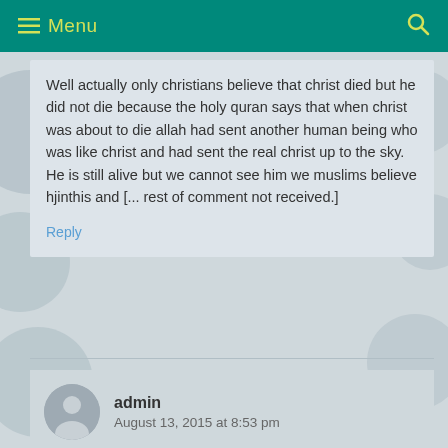≡ Menu  🔍
Well actually only christians believe that christ died but he did not die because the holy quran says that when christ was about to die allah had sent another human being who was like christ and had sent the real christ up to the sky. He is still alive but we cannot see him we muslims believe hjinthis and [... rest of comment not received.]
Reply
admin
August 13, 2015 at 8:53 pm